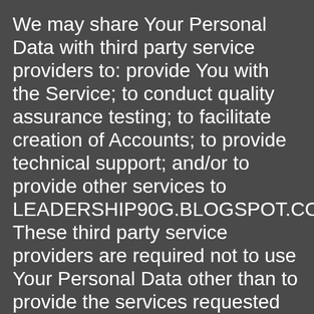We may share Your Personal Data with third party service providers to: provide You with the Service; to conduct quality assurance testing; to facilitate creation of Accounts; to provide technical support; and/or to provide other services to LEADERSHIP90G.BLOGSPOT.COM. These third party service providers are required not to use Your Personal Data other than to provide the services requested by LEADERSHIP90G.BLOGSPOT.COM.
(c) Affiliates
We may share some or all of Your